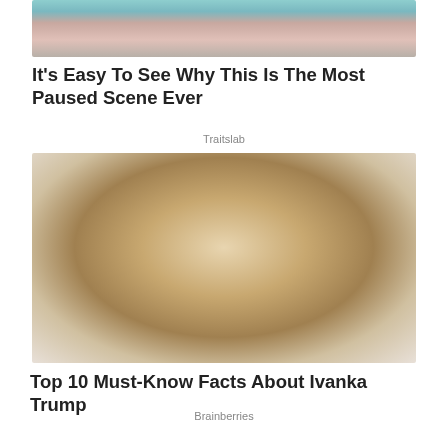[Figure (photo): Cropped photo showing a person's legs seated in a chair, partial body view, teal/pink tones]
It's Easy To See Why This Is The Most Paused Scene Ever
Traitslab
[Figure (photo): Close-up portrait photo of a blonde woman facing the camera, event backdrop visible behind her]
Top 10 Must-Know Facts About Ivanka Trump
Brainberries